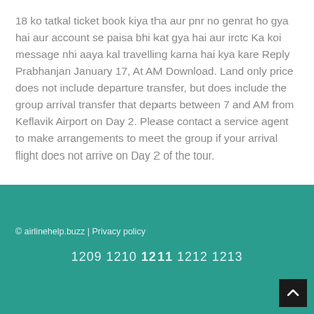18 ko tatkal ticket book kiya tha aur pnr no genrat ho gya hai aur account se paisa bhi kat gya hai aur irctc Ka koi message nhi aaya kal travelling karna hai kya kare Reply Prabhanjan January 17, At AM Download. Land only price does not include departure transfer, but does include the group arrival transfer that departs between 7 and AM from Keflavik Airport on Day 2. Please contact a service agent to make arrangements to meet the group if your arrival flight does not arrive on Day 2 of the tour.
© airlinehelp.buzz | Privacy policy
1209 1210 1211 1212 1213